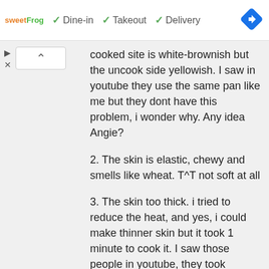[Figure (screenshot): Advertisement banner for sweetFrog showing Dine-in, Takeout, and Delivery checkmarks, with a blue navigation diamond icon on the right.]
[Figure (screenshot): Media/collapse controls: a play triangle button, an X button, and a white collapse button with a caret-up symbol.]
cooked site is white-brownish but the uncook side yellowish. I saw in youtube they use the same pan like me but they dont have this problem, i wonder why. Any idea Angie?
2. The skin is elastic, chewy and smells like wheat. T^T not soft at all
3. The skin too thick. i tried to reduce the heat, and yes, i could make thinner skin but it took 1 minute to cook it. I saw those people in youtube, they took averagely 20 second only before the skin peeled off from the pan.
Making the skin really ma fan T^T
REPLY